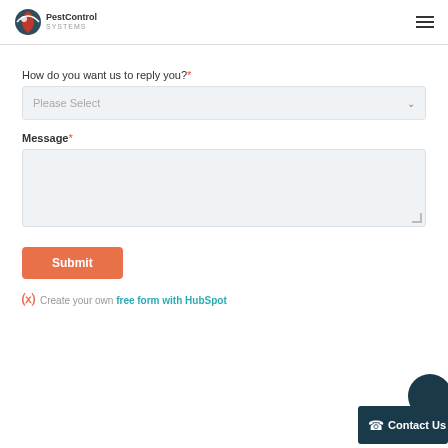PestControl Systems — navigation header
How do you want us to reply you?*
Please Select (dropdown)
Message*
Submit button
Create your own free form with HubSpot
Contact Us